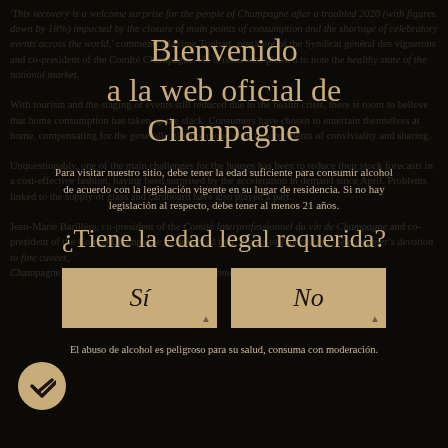'This recovery is a welcome surprise for the people of Champagne after a troubled 2020 (with figures down by 18%) impacted by the closure of main points of consumption and the shortage of celebratory events across the world,' comments Maxime Toubart, president of the Syndicat général des vignerons and co-president of the Comité Champagne. He is otherwise pleased to note the healthy state of the national market.
With tourism and the staging of events still reduced due to the health crisis, there is room to believe that home consumption has taken up the slack. Consumers have chosen to entertain themselves at home, compensating for the generally gloomy mood with new moments of conviviality and sharing.
Unquestionably, one of the main challenges for the houses has been to reduce their stock forecasts in a cost-effective fashion, having been surprised by the acceleration in demand since April. Problems linked to the supply of glass and cardboard have also played a part.
Jean-Marie Barillère, co-president of the Comité Interprofessionnel du vin de Champagne and co-president of the Comité Champagne, is delighted that, thanks to exports and the consumer's devotion to fine cuvées, Champagne has bounced back so strongly. But he stresses 'the average shipments in 2020-2021, at 280 million...
Bienvenido a la web oficial de Champagne
Para visitar nuestro sitio, debe tener la edad suficiente para consumir alcohol de acuerdo con la legislación vigente en su lugar de residencia. Si no hay legislación al respecto, debe tener al menos 21 años.
¿Tiene la edad legal requerida?
Sí
No
El abuso de alcohol es peligroso para su salud, consuma con moderación.